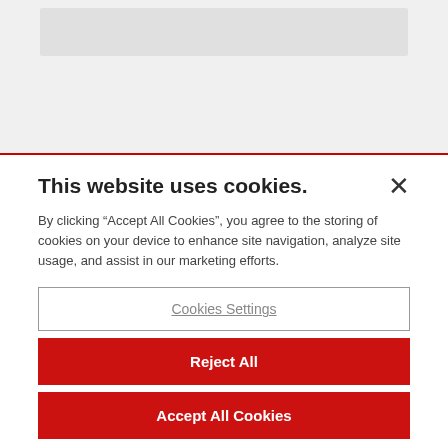[Figure (screenshot): Top greyed-out area of a webpage, partially obscured by a cookie consent overlay. A light gray horizontal bar is visible near the top.]
This website uses cookies.
By clicking “Accept All Cookies”, you agree to the storing of cookies on your device to enhance site navigation, analyze site usage, and assist in our marketing efforts.
Cookies Settings
Reject All
Accept All Cookies